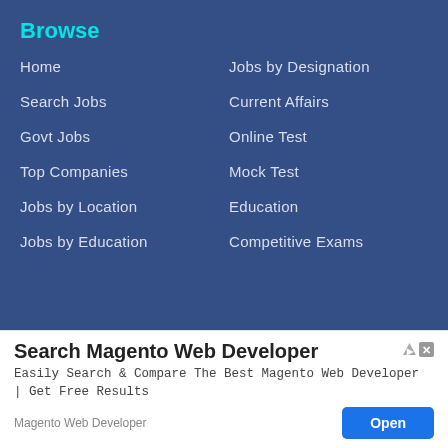Browse
Home
Jobs by Designation
Search Jobs
Current Affairs
Govt Jobs
Online Test
Top Companies
Mock Test
Jobs by Location
Education
Jobs by Education
Competitive Exams
[Figure (screenshot): Advertisement banner for Search Magento Web Developer with Open button]
Search Magento Web Developer
Easily Search & Compare The Best Magento Web Developer | Get Free Results
Magento Web Developer
Open